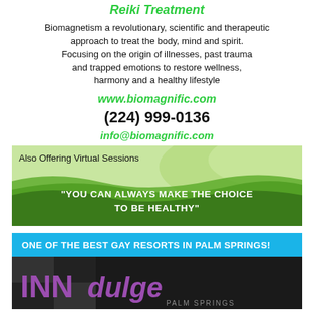Reiki Treatment
Biomagnetism a revolutionary, scientific and therapeutic approach to treat the body, mind and spirit. Focusing on the origin of illnesses, past trauma and trapped emotions to restore wellness, harmony and a healthy lifestyle
www.biomagnific.com
(224) 999-0136
info@biomagnific.com
[Figure (illustration): Green wave banner with text 'Also Offering Virtual Sessions' at top and quote 'YOU CAN ALWAYS MAKE THE CHOICE TO BE HEALTHY' in white on dark green background]
ONE OF THE BEST GAY RESORTS IN PALM SPRINGS!
[Figure (logo): INNdulge Palm Springs logo and resort photo]